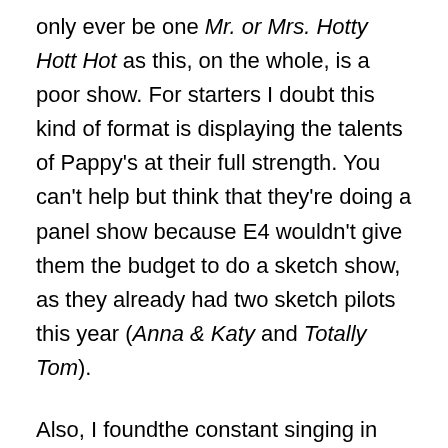only ever be one Mr. or Mrs. Hotty Hott Hot as this, on the whole, is a poor show. For starters I doubt this kind of format is displaying the talents of Pappy's at their full strength. You can't help but think that they're doing a panel show because E4 wouldn't give them the budget to do a sketch show, as they already had two sketch pilots this year (Anna & Katy and Totally Tom).

Also, I foundthe constant singing in the show to be hugely annoying, and some of the rounds were a bit - well, let's say "dodgy". One of them involved finding a hunk in a trunk. The hunk in question was a dwarf. Now, is it me, or is the idea of finding a dwarf in a trunk for the purposes of entertainment